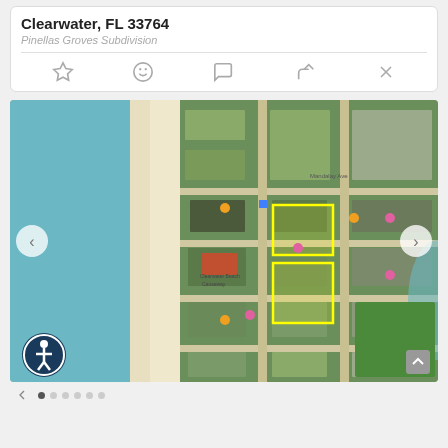Clearwater, FL 33764
Pinellas Groves Subdivision
[Figure (map): Aerial satellite map view of Clearwater Beach, FL area showing beach, streets, and property parcels highlighted with yellow outlines. Navigation arrows on left and right sides. Accessibility button bottom left.]